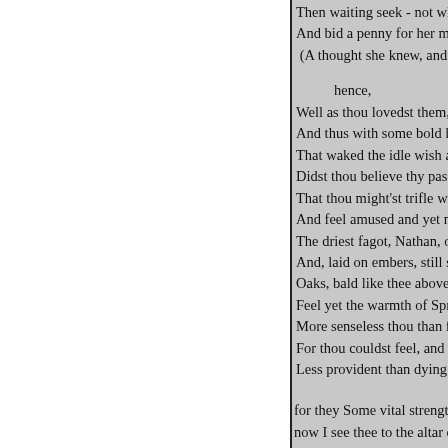Then waiting seek - not wh
And bid a penny for her ma
(A thought she knew, and t

hence,
Well as thou lovedst them,
And thus with some bold hi
That waked the idle wish an
Didst thou believe thy passi
That thou might'st trifle wit
And feel amused and yet no
The driest fagot, Nathan, on
And, laid on embers, still so
Oaks, bald like thee above,
Feel yet the warmth of Spri
More senseless thou than fa
For thou couldst feel, and y
Less provident than dying t

for they Some vital strength, son
now I see thee to the altar come
that shape aside, With blended lo
And but one tyrant rankles in thy
arise, and fears on fears ; Yet fea